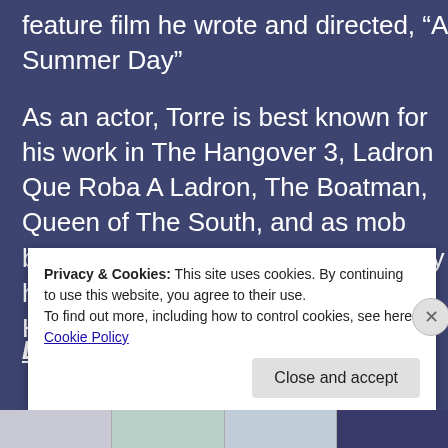feature film he wrote and directed, “A Summer Day”
As an actor, Torre is best known for his work in The Hangover 3, Ladron Que Roba A Ladron, The Boatman, Queen of The South, and as mob boss Vinny Malone in the Tyler Perry hit TV series, The Haves and The Have Nots.
Director Statement
Privacy & Cookies: This site uses cookies. By continuing to use this website, you agree to their use.
To find out more, including how to control cookies, see here: Cookie Policy